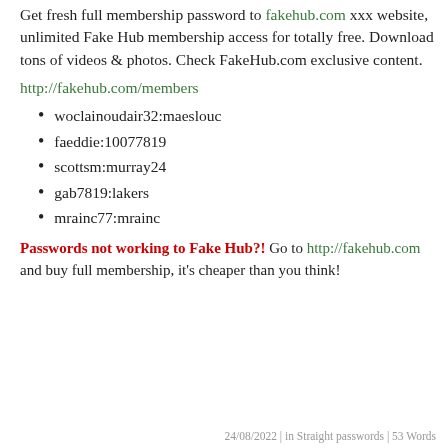Get fresh full membership password to fakehub.com xxx website, unlimited Fake Hub membership access for totally free. Download tons of videos & photos. Check FakeHub.com exclusive content.
http://fakehub.com/members
woclainoudair32:maeslouc
faeddie:10077819
scottsm:murray24
gab7819:lakers
mrainc77:mrainc
Passwords not working to Fake Hub?! Go to http://fakehub.com and buy full membership, it's cheaper than you think!
24/08/2022 | in Straight passwords | 53 Words